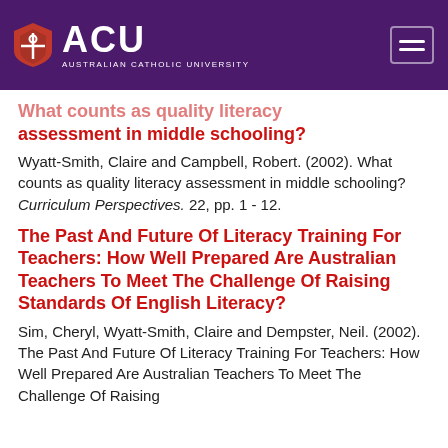ACU AUSTRALIAN CATHOLIC UNIVERSITY
assessment in middle schooling?
Wyatt-Smith, Claire and Campbell, Robert. (2002). What counts as quality literacy assessment in middle schooling? Curriculum Perspectives. 22, pp. 1 - 12.
The Past And Future Of Literacy Training For Teachers: How Well Prepared Are Australian Teachers To Meet The Challenge Of Raising Standards Of English Literacy?
Sim, Cheryl, Wyatt-Smith, Claire and Dempster, Neil. (2002). The Past And Future Of Literacy Training For Teachers: How Well Prepared Are Australian Teachers To Meet The Challenge Of Raising